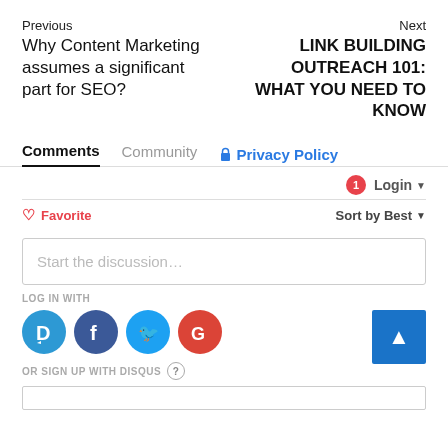Previous
Why Content Marketing assumes a significant part for SEO?
Next
LINK BUILDING OUTREACH 101: WHAT YOU NEED TO KNOW
Comments  Community  Privacy Policy
1  Login
♡ Favorite  Sort by Best
Start the discussion...
LOG IN WITH
OR SIGN UP WITH DISQUS ?